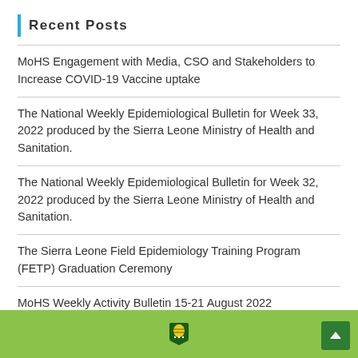Recent Posts
MoHS Engagement with Media, CSO and Stakeholders to Increase COVID-19 Vaccine uptake
The National Weekly Epidemiological Bulletin for Week 33, 2022 produced by the Sierra Leone Ministry of Health and Sanitation.
The National Weekly Epidemiological Bulletin for Week 32, 2022 produced by the Sierra Leone Ministry of Health and Sanitation.
The Sierra Leone Field Epidemiology Training Program (FETP) Graduation Ceremony
MoHS Weekly Activity Bulletin 15-21 August 2022
Footer with government logo and back to top button